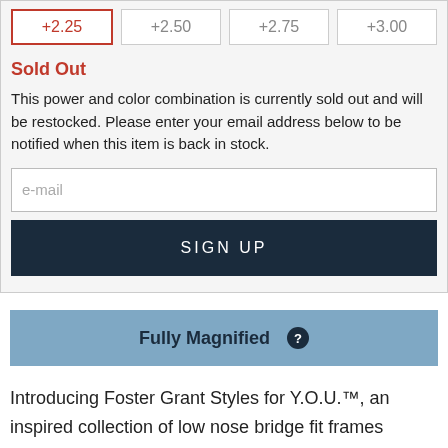+2.25 | +2.50 | +2.75 | +3.00
Sold Out
This power and color combination is currently sold out and will be restocked. Please enter your email address below to be notified when this item is back in stock.
e-mail
SIGN UP
Fully Magnified ?
Introducing Foster Grant Styles for Y.O.U.™, an inspired collection of low nose bridge fit frames designed to complement all of the beautiful qualities